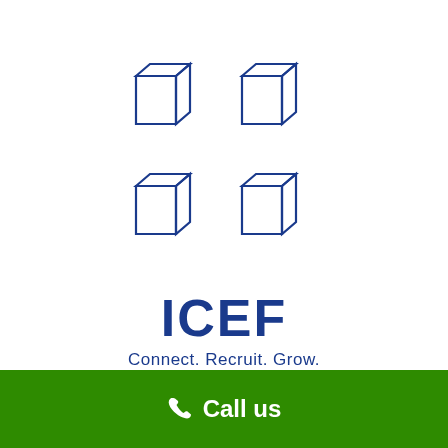[Figure (logo): ICEF logo: four isometric cube outlines arranged in a 2x2 grid, in dark blue, above the text ICEF and tagline Connect. Recruit. Grow.]
ICEF
Connect. Recruit. Grow.
Call us